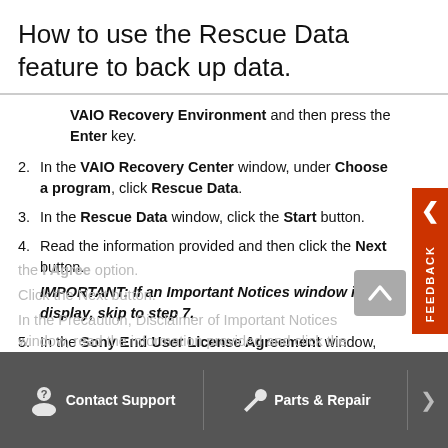How to use the Rescue Data feature to back up data.
VAIO Recovery Environment and then press the Enter key.
2. In the VAIO Recovery Center window, under Choose a program, click Rescue Data.
3. In the Rescue Data window, click the Start button.
4. Read the information provided and then click the Next button. IMPORTANT: If an Important Notices window is display, skip to step 7.
5. In the Sony End User License Agreement window, read and agree to the license agreement by clicking to select the I Agree option.
Contact Support   Parts & Repair